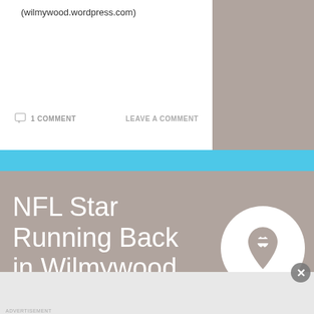(wilmywood.wordpress.com)
1 COMMENT
LEAVE A COMMENT
NFL Star Running Back in Wilmywood for the Weekend!
MAY 24, 2013
Advertisements
[Figure (screenshot): DuckDuckGo advertisement banner: orange section with text 'Search, browse, and email with more privacy. All in One Free App' and dark section with DuckDuckGo logo]